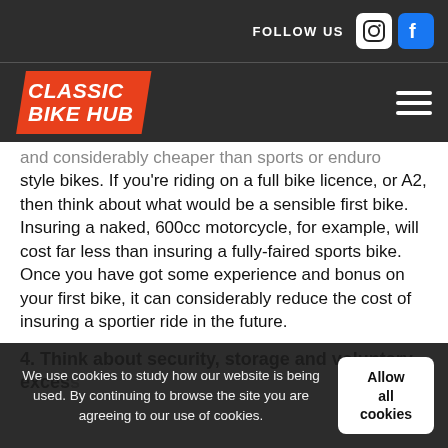FOLLOW US [Instagram] [Facebook]
[Figure (logo): Classic Bike Hub logo — white bold italic text on orange parallelogram background]
and considerably cheaper than sports or enduro style bikes. If you’re riding on a full bike licence, or A2, then think about what would be a sensible first bike. Insuring a naked, 600cc motorcycle, for example, will cost far less than insuring a fully-faired sports bike. Once you have got some experience and bonus on your first bike, it can considerably reduce the cost of insuring a sportier ride in the future.
4. Think about security, storage and voluntary excess
We use cookies to study how our website is being used. By continuing to browse the site you are agreeing to our use of cookies.